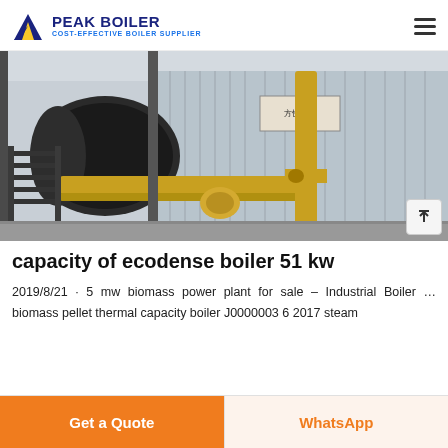PEAK BOILER COST-EFFECTIVE BOILER SUPPLIER
[Figure (photo): Industrial biomass boiler installation inside a factory building, showing a large cylindrical boiler drum in black, yellow piping, corrugated metal housing, and steel framework/stairs.]
capacity of ecodense boiler 51 kw
2019/8/21 · 5 mw biomass power plant for sale – Industrial Boiler … biomass pellet thermal capacity boiler J0000003 6 2017 steam